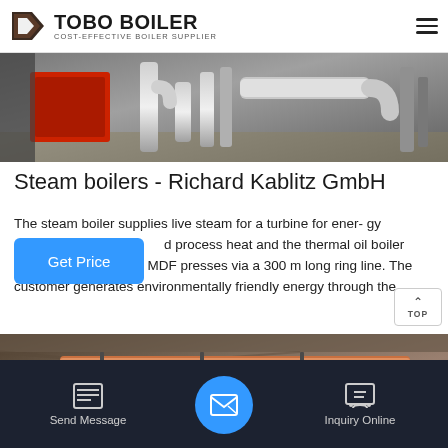TOBO BOILER — COST-EFFECTIVE BOILER SUPPLIER
[Figure (photo): Industrial boiler equipment with metallic pipes and red machinery components in a workshop setting]
Steam boilers - Richard Kablitz GmbH
The steam boiler supplies live steam for a turbine for ener- gy and process heat and the thermal oil boiler supplies heat to two MDF presses via a 300 m long ring line. The customer generates environmentally friendly energy through the
[Figure (photo): Industrial piping system with copper and metal pipes arranged along a ceiling or wall structure]
WhatsApp
Send Message | Inquiry Online